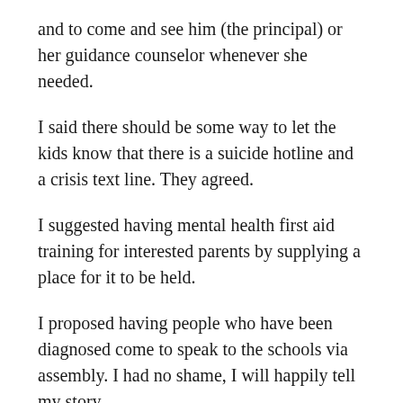and to come and see him (the principal) or her guidance counselor whenever she needed.
I said there should be some way to let the kids know that there is a suicide hotline and a crisis text line. They agreed.
I suggested having mental health first aid training for interested parents by supplying a place for it to be held.
I proposed having people who have been diagnosed come to speak to the schools via assembly. I had no shame, I will happily tell my story.
I asked that they let the parents know what resources